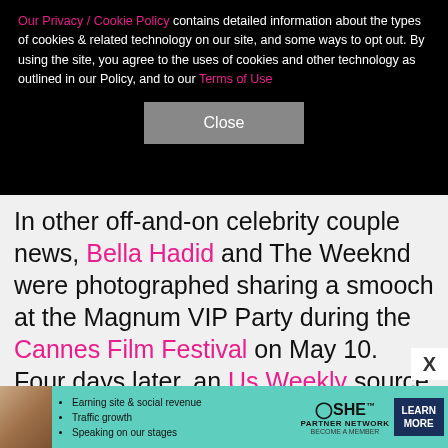Our Privacy / Cookie Policy contains detailed information about the types of cookies & related technology on our site, and some ways to opt out. By using the site, you agree to the uses of cookies and other technology as outlined in our Policy, and to our Terms of Use
Close
In other off-and-on celebrity couple news, Bella Hadid and The Weeknd were photographed sharing a smooch at the Magnum VIP Party during the Cannes Film Festival on May 10. Four days later, an Us Weekly source spotted the former couple "making out" throughout the Cannes premiere of "BlacKkKlansman." According to the spy, "It was obvious they were together. … They weren't trying to hide it either." Rumors that the duo had reconciled first kicked off in
[Figure (screenshot): Advertisement banner for SHE Partner Network with a photo of a woman, bullet points about earning site & social revenue, traffic growth, speaking on our stages, SHE logo, and a LEARN MORE button]